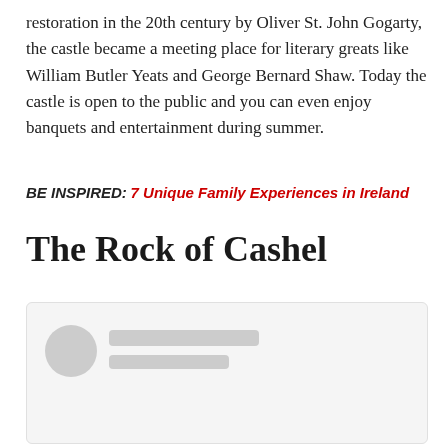restoration in the 20th century by Oliver St. John Gogarty, the castle became a meeting place for literary greats like William Butler Yeats and George Bernard Shaw. Today the castle is open to the public and you can even enjoy banquets and entertainment during summer.
BE INSPIRED: 7 Unique Family Experiences in Ireland
The Rock of Cashel
[Figure (other): Loading placeholder card with avatar circle and two grey rectangular lines suggesting a social media or author card]